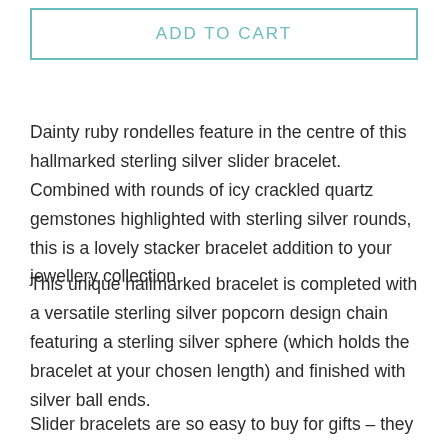ADD TO CART
Dainty ruby rondelles feature in the centre of this hallmarked sterling silver slider bracelet. Combined with rounds of icy crackled quartz gemstones highlighted with sterling silver rounds, this is a lovely stacker bracelet addition to your jewellery collection.
This unique hallmarked bracelet is completed with a versatile sterling silver popcorn design chain featuring a sterling silver sphere (which holds the bracelet at your chosen length) and finished with silver ball ends.
Slider bracelets are so easy to buy for gifts – they are